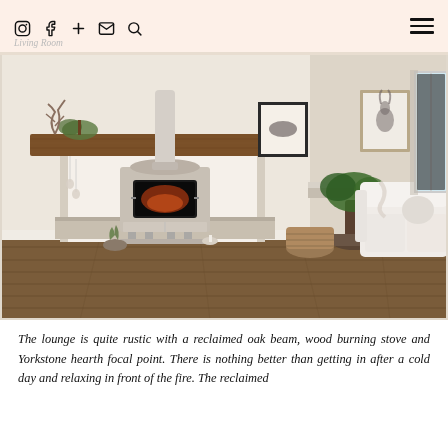Living Room
[Figure (photo): Interior photo of a cozy rustic living room featuring a reclaimed oak beam mantle, a grey/cream wood burning stove on a Yorkstone hearth, warm wooden floorboards, framed botanical prints on white walls, a large green plant, wicker baskets, and a white sofa.]
The lounge is quite rustic with a reclaimed oak beam, wood burning stove and Yorkstone hearth focal point. There is nothing better than getting in after a cold day and relaxing in front of the fire. The reclaimed